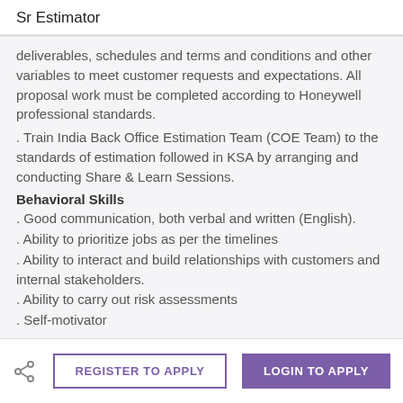Sr Estimator
deliverables, schedules and terms and conditions and other variables to meet customer requests and expectations. All proposal work must be completed according to Honeywell professional standards.
. Train India Back Office Estimation Team (COE Team) to the standards of estimation followed in KSA by arranging and conducting Share & Learn Sessions.
Behavioral Skills
. Good communication, both verbal and written (English).
. Ability to prioritize jobs as per the timelines
. Ability to interact and build relationships with customers and internal stakeholders.
. Ability to carry out risk assessments
. Self-motivator
REGISTER TO APPLY   LOGIN TO APPLY